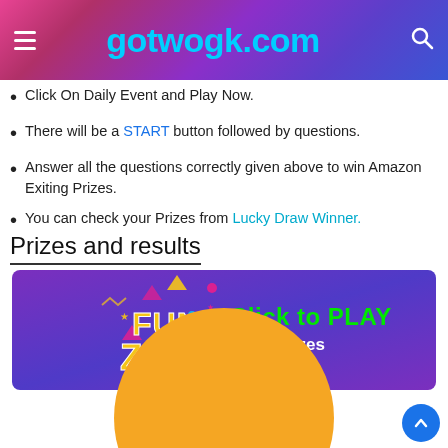gotwogk.com
Click On Daily Event and Play Now.
There will be a START button followed by questions.
Answer all the questions correctly given above to win Amazon Exiting Prizes.
You can check your Prizes from Lucky Draw Winner.
Prizes and results
[Figure (illustration): Fun Zone banner with purple gradient background, 'FUN ZONE' logo in yellow/white, 'Click to PLAY' text in green, 'Win prizes everyday' in white]
[Figure (illustration): Orange circle partially visible at bottom of page]